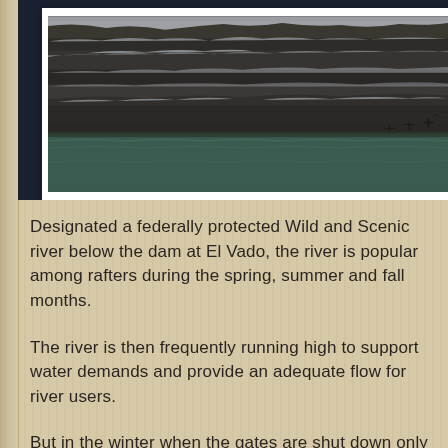[Figure (photo): A winter landscape photo of a river canyon with snow-dusted rocky cliff walls and dark green-teal water flowing below. The cliffs show layered rock formations with patches of snow on ledges. Sparse winter vegetation is visible.]
Designated a federally protected Wild and Scenic river below the dam at El Vado, the river is popular among rafters during the spring, summer and fall months.
The river is then frequently running high to support water demands and provide an adequate flow for river users.
But in the winter when the gates are shut down only anglers in the know make the trip to this stretch